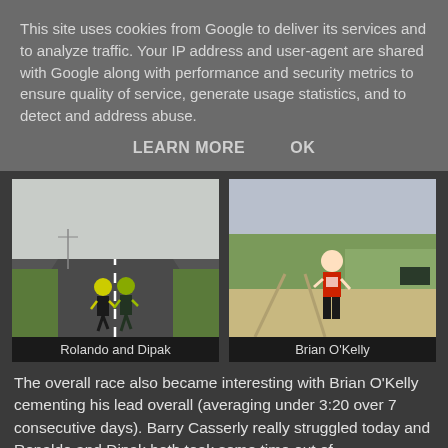This site uses cookies from Google to deliver its services and to analyze traffic. Your IP address and user-agent are shared with Google along with performance and security metrics to ensure quality of service, generate usage statistics, and to detect and address abuse.
LEARN MORE    OK
[Figure (photo): Two runners in neon green vests running on a road with flat grassy landscape]
Rolando and Dipak
[Figure (photo): A man in a red t-shirt running on a sandy/dusty road with vegetation in background]
Brian O'Kelly
The overall race also became interesting with Brian O'Kelly cementing his lead overall (averaging under 3:20 over 7 consecutive days). Barry Casserly really struggled today and Ronaldo and Dipak both took some time out of